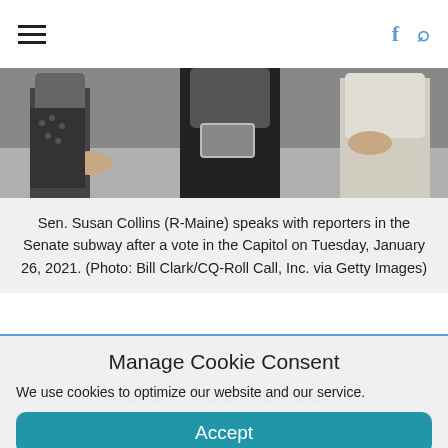≡   [navigation bar with hamburger menu, Facebook and search icons]
[Figure (photo): Sen. Susan Collins (R-Maine) speaks with reporters in the Senate subway, photo by Bill Clark/CQ-Roll Call]
Sen. Susan Collins (R-Maine) speaks with reporters in the Senate subway after a vote in the Capitol on Tuesday, January 26, 2021. (Photo: Bill Clark/CQ-Roll Call, Inc. via Getty Images)
As the Congressional Budget Office projected Monday morning that U.S. employment likely won't recover to pre-pandemic levels until 2024, a group of Senate Republicans unveiled a $618 billion coronavirus relief proposal that would only extend emergency jobless aid for three
Manage Cookie Consent
We use cookies to optimize our website and our service.
Accept